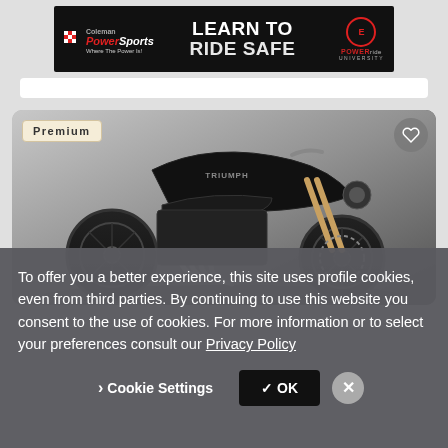[Figure (other): Coleman PowerSports advertisement banner — 'LEARN TO RIDE SAFE' with PowerRide University logo on black background]
[Figure (photo): Black Triumph Rocket III motorcycle shown in profile view against a light grey studio background. 'Premium' badge in top-left corner, heart/favorite button in top-right corner.]
To offer you a better experience, this site uses profile cookies, even from third parties. By continuing to use this website you consent to the use of cookies. For more information or to select your preferences consult our Privacy Policy
Cookie Settings
✓ OK